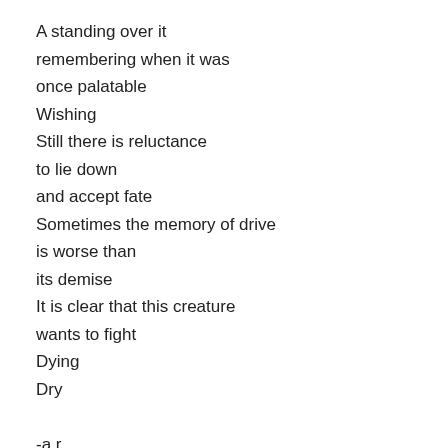A standing over it
remembering when it was
once palatable
Wishing
Still there is reluctance
to lie down
and accept fate
Sometimes the memory of drive
is worse than
its demise
It is clear that this creature
wants to fight
Dying
Dry

-a.r.